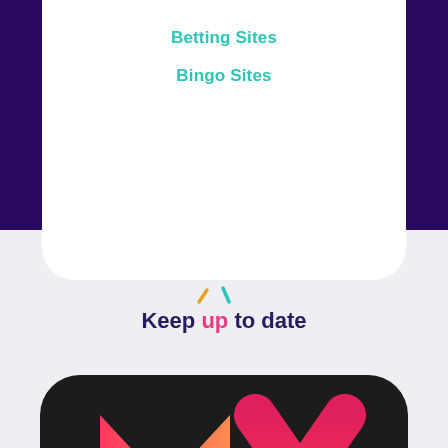Betting Sites
Bingo Sites
[Figure (logo): Keep up to date logo with small colorful confetti marks above and stylized text in dark navy and pink]
[Figure (logo): MAX app icon with large gradient M A X letters in red-pink gradient on dark/black rounded square background]